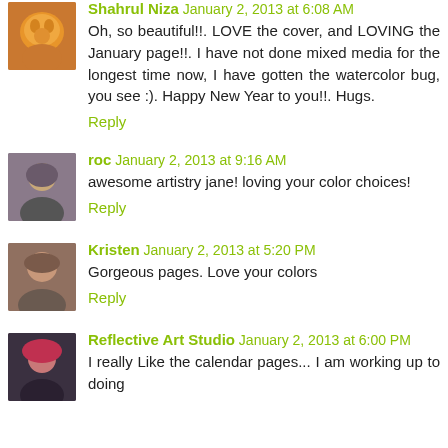[Figure (photo): Avatar photo of a cat (orange/tabby)]
Shahrul Niza January 2, 2013 at 6:08 AM
Oh, so beautiful!!. LOVE the cover, and LOVING the January page!!. I have not done mixed media for the longest time now, I have gotten the watercolor bug, you see :). Happy New Year to you!!. Hugs.
Reply
[Figure (photo): Avatar photo of a woman with dark hair]
roc January 2, 2013 at 9:16 AM
awesome artistry jane! loving your color choices!
Reply
[Figure (photo): Avatar photo of a woman]
Kristen January 2, 2013 at 5:20 PM
Gorgeous pages. Love your colors
Reply
[Figure (photo): Avatar photo of a person with red hair]
Reflective Art Studio January 2, 2013 at 6:00 PM
I really Like the calendar pages... I am working up to doing